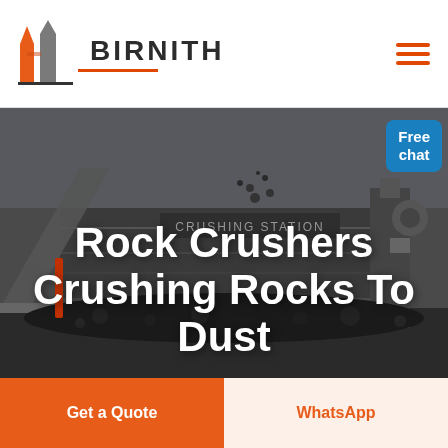[Figure (logo): Birnith company logo with orange and gray building/pillar icon]
BIRNITH
[Figure (photo): Industrial rock crusher machine at a crushing station, dark/grayscale photograph with rocks and machinery]
Rock Crushers Crushing Rocks To Dust
Free chat
Get a Quote
WhatsApp